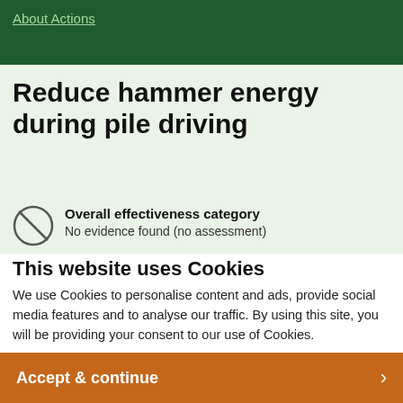About Actions
Reduce hammer energy during pile driving
Overall effectiveness category
No evidence found (no assessment)
This website uses Cookies
We use Cookies to personalise content and ads, provide social media features and to analyse our traffic. By using this site, you will be providing your consent to our use of Cookies.
Accept & continue